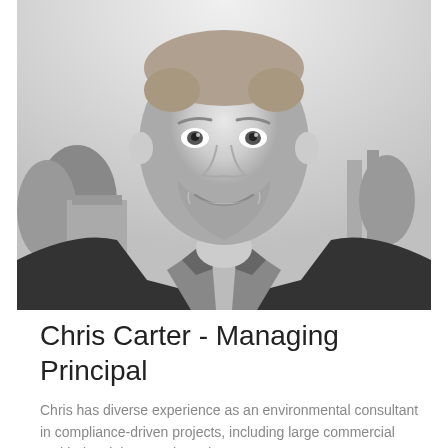[Figure (photo): Black and white headshot photo of Chris Carter, a man with short hair and a beard, smiling, wearing a blazer and collared shirt, with an urban background of trees and buildings.]
Chris Carter - Managing Principal
Chris has diverse experience as an environmental consultant in compliance-driven projects, including large commercial and industrial contaminated